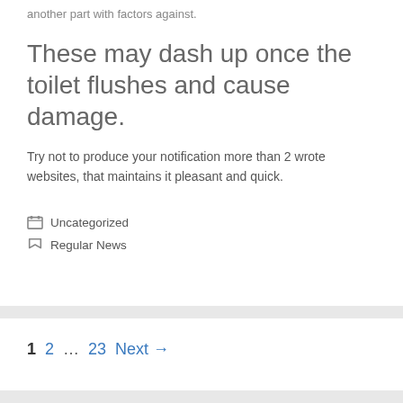another part with factors against.
These may dash up once the toilet flushes and cause damage.
Try not to produce your notification more than 2 wrote websites, that maintains it pleasant and quick.
Uncategorized
Regular News
1  2  …  23  Next →